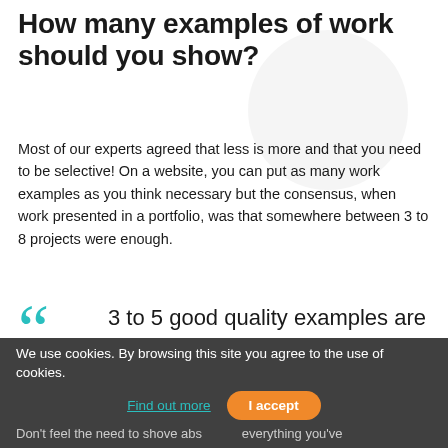How many examples of work should you show?
Most of our experts agreed that less is more and that you need to be selective! On a website, you can put as many work examples as you think necessary but the consensus, when work presented in a portfolio, was that somewhere between 3 to 8 projects were enough.
3 to 5 good quality examples are better than ten mediocre ones. - John Griffin, Wolfcub Digital
We use cookies. By browsing this site you agree to the use of cookies. Find out more   I accept   Don't feel the need to shove abs everything you've